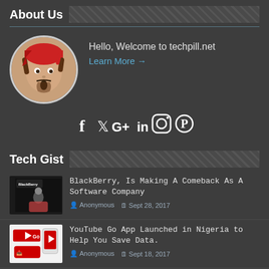About Us
[Figure (photo): Circular avatar image of a pirate character (Jack Sparrow style) with red bandana]
Hello, Welcome to techpill.net
Learn More →
[Figure (infographic): Social media icons: Facebook (f), Twitter, Google+, LinkedIn (in), Instagram, Pinterest]
Tech Gist
[Figure (photo): BlackBerry logo thumbnail with person in background]
BlackBerry, Is Making A Comeback As A Software Company
Anonymous  Sept 28, 2017
[Figure (photo): YouTube Go app thumbnail with logo]
YouTube Go App Launched in Nigeria to Help You Save Data.
Anonymous  Sept 18, 2017